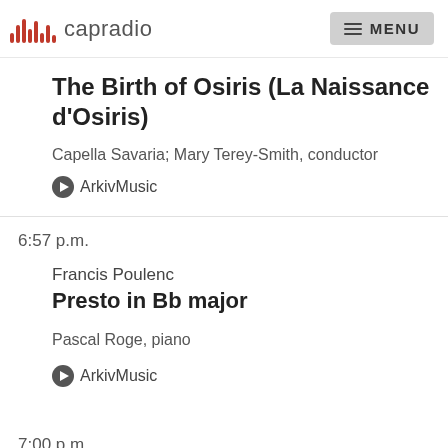capradio  MENU
The Birth of Osiris (La Naissance d'Osiris)
Capella Savaria; Mary Terey-Smith, conductor
❯ ArkivMusic
6:57 p.m.
Francis Poulenc
Presto in Bb major
Pascal Roge, piano
❯ ArkivMusic
7:00 p.m.